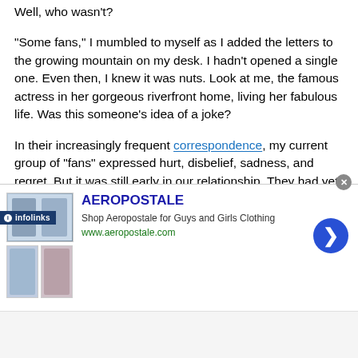Well, who wasn't?
"Some fans," I mumbled to myself as I added the letters to the growing mountain on my desk. I hadn't opened a single one. Even then, I knew it was nuts. Look at me, the famous actress in her gorgeous riverfront home, living her fabulous life. Was this someone's idea of a joke?
In their increasingly frequent correspondence, my current group of "fans" expressed hurt, disbelief, sadness, and regret. But it was still early in our relationship. They had yet to progress to anger, hostility, and retribution.
Dear Lorraine,
I'm sure it has slipped your attention that your account balance of $36,590 is six months past due. I know how busy but ...
[Figure (screenshot): Aeropostale advertisement banner with clothing images, brand name, tagline 'Shop Aeropostale for Guys and Girls Clothing', website www.aeropostale.com, and a blue arrow button. Also shows infolinks badge and close button.]